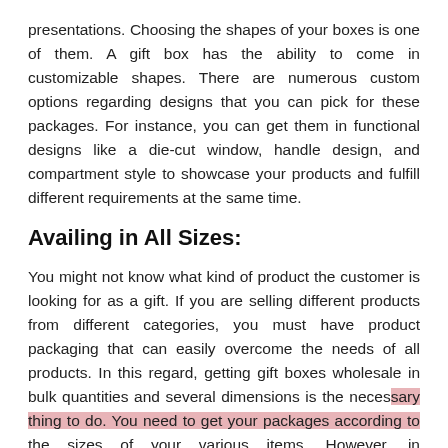presentations. Choosing the shapes of your boxes is one of them. A gift box has the ability to come in customizable shapes. There are numerous custom options regarding designs that you can pick for these packages. For instance, you can get them in functional designs like a die-cut window, handle design, and compartment style to showcase your products and fulfill different requirements at the same time.
Availing in All Sizes:
You might not know what kind of product the customer is looking for as a gift. If you are selling different products from different categories, you must have product packaging that can easily overcome the needs of all products. In this regard, getting gift boxes wholesale in bulk quantities and several dimensions is the necessary thing to do. You need to get your packages according to the sizes of your various items. However, in customizable packaging like gift packages, you will not have any difficulty in finding numerous sizes.